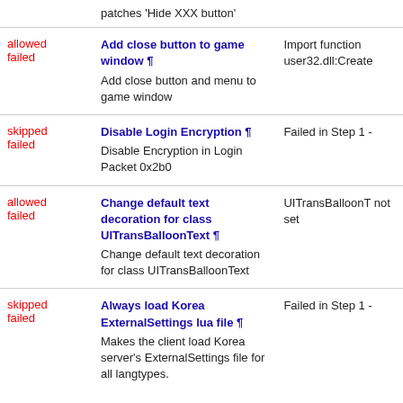| Status | Patch | Detail |
| --- | --- | --- |
|  | patches 'Hide XXX button' |  |
| allowed
failed | Add close button to game window ¶
Add close button and menu to game window | Import function user32.dll:Create |
| skipped
failed | Disable Login Encryption ¶
Disable Encryption in Login Packet 0x2b0 | Failed in Step 1 - |
| allowed
failed | Change default text decoration for class UITransBalloonText ¶
Change default text decoration for class UITransBalloonText | UITransBalloonT not set |
| skipped
failed | Always load Korea ExternalSettings lua file ¶
Makes the client load Korea server's ExternalSettings file for all langtypes. | Failed in Step 1 - |